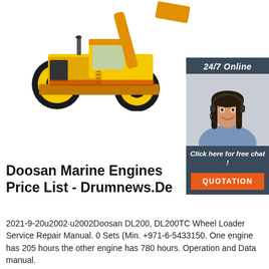[Figure (photo): Yellow Doosan wheel loader (construction machinery) on white background, front-left view showing large tires, cab, and raised bucket arm]
[Figure (photo): 24/7 Online customer service widget showing a smiling woman wearing a telephone headset, with dark blue/grey background, italic text 'Click here for free chat!', and an orange QUOTATION button below]
Doosan Marine Engines Price List - Drumnews.De
2021-9-20u2002·u2002Doosan DL200, DL200TC Wheel Loader Service Repair Manual. 0 Sets (Min. +971-6-5433150. One engine has 205 hours the other engine has 780 hours. Operation and Data manual.